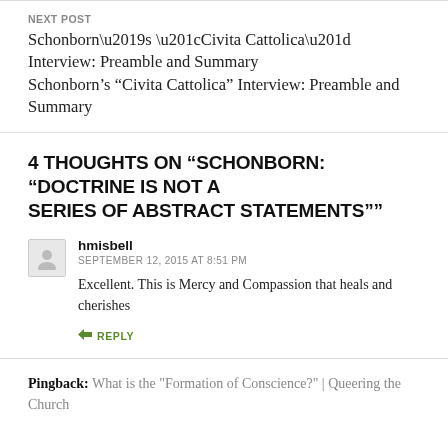NEXT POST
Schonborn’s “Civita Cattolica” Interview: Preamble and Summary
4 THOUGHTS ON “SCHONBORN: “DOCTRINE IS NOT A SERIES OF ABSTRACT STATEMENTS””
hmisbell
SEPTEMBER 12, 2015 AT 8:51 PM
Excellent. This is Mercy and Compassion that heals and cherishes
REPLY
Pingback: What is the "Formation of Conscience?" | Queering the Church